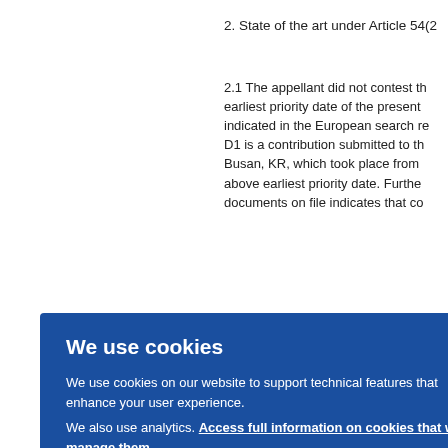2. State of the art under Article 54(2
2.1 The appellant did not contest th earliest priority date of the present indicated in the European search re D1 is a contribution submitted to th Busan, KR, which took place from above earliest priority date. Further documents on file indicates that co eting
gued n, in v D1 w ith th phas filed be ba orm"
We use cookies

We use cookies on our website to support technical features that enhance your user experience.
We also use analytics. Access full information on cookies that we use and how to manage them
OK